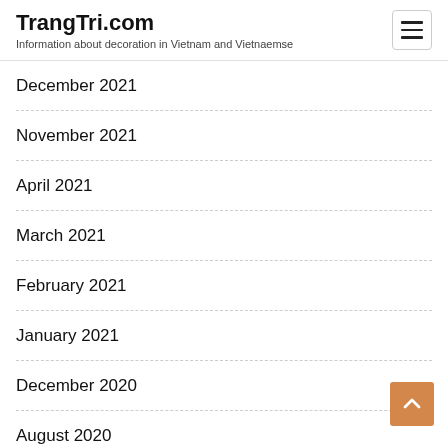TrangTri.com — Information about decoration in Vietnam and Vietnaemse
December 2021
November 2021
April 2021
March 2021
February 2021
January 2021
December 2020
August 2020
July 2020
November 2019